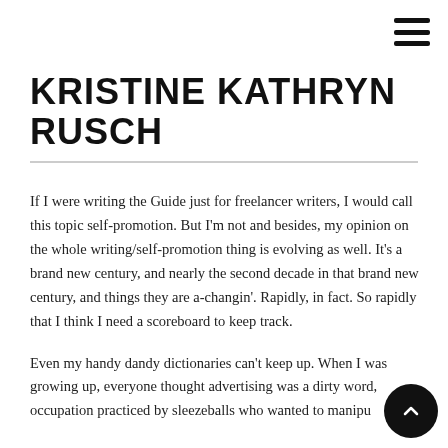KRISTINE KATHRYN RUSCH
If I were writing the Guide just for freelancer writers, I would call this topic self-promotion.  But I'm not and besides, my opinion on the whole writing/self-promotion thing is evolving as well.  It's a brand new century, and nearly the second decade in that brand new century, and things they are a-changin'.  Rapidly, in fact.  So rapidly that I think I need a scoreboard to keep track.
Even my handy dandy dictionaries can't keep up.  When I was growing up, everyone thought advertising was a dirty word, occupation practiced by sleezeballs who wanted to manipulate...